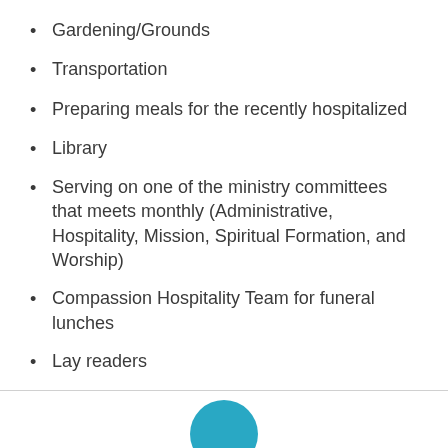Gardening/Grounds
Transportation
Preparing meals for the recently hospitalized
Library
Serving on one of the ministry committees that meets monthly (Administrative, Hospitality, Mission, Spiritual Formation, and Worship)
Compassion Hospitality Team for funeral lunches
Lay readers